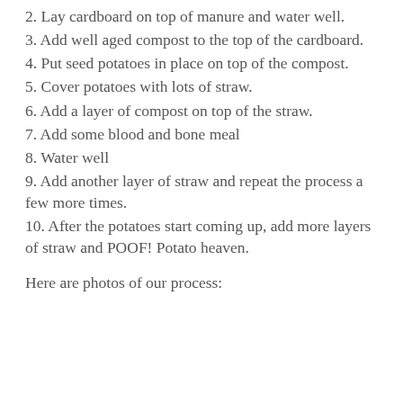2. Lay cardboard on top of manure and water well.
3. Add well aged compost to the top of the cardboard.
4. Put seed potatoes in place on top of the compost.
5. Cover potatoes with lots of straw.
6. Add a layer of compost on top of the straw.
7. Add some blood and bone meal
8. Water well
9. Add another layer of straw and repeat the process a few more times.
10. After the potatoes start coming up, add more layers of straw and POOF! Potato heaven.
Here are photos of our process: